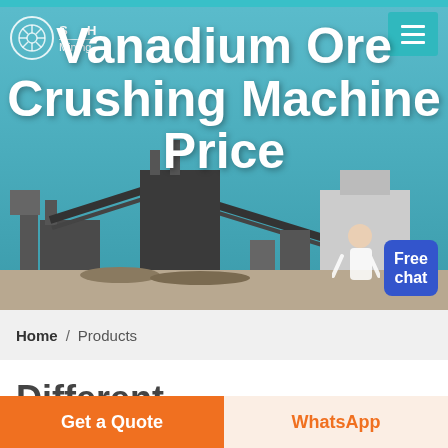[Figure (photo): Hero banner showing industrial mining crushing plant with conveyor belts and machinery, with teal/blue sky background. Overlaid with white bold text 'Vanadium Ore Crushing Machine Price'. Logo with circle emblem and 'SH Mining' text top left. Teal hamburger menu button top right. Blue 'Free chat' button bottom right.]
Home / Products
Different Machines To Meet All
Get a Quote
WhatsApp